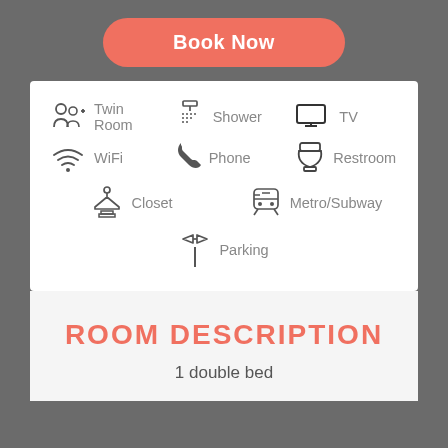[Figure (infographic): Hotel room amenities icons: Twin Room, Shower, TV, WiFi, Phone, Restroom, Closet, Metro/Subway, Parking]
ROOM DESCRIPTION
1 double bed